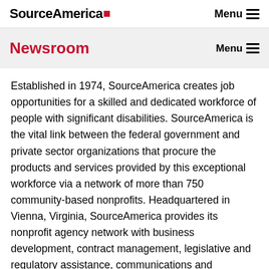SourceAmerica  Menu
Newsroom  Menu
Established in 1974, SourceAmerica creates job opportunities for a skilled and dedicated workforce of people with significant disabilities. SourceAmerica is the vital link between the federal government and private sector organizations that procure the products and services provided by this exceptional workforce via a network of more than 750 community-based nonprofits. Headquartered in Vienna, Virginia, SourceAmerica provides its nonprofit agency network with business development, contract management, legislative and regulatory assistance, communications and